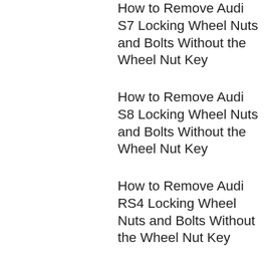How to Remove Audi S7 Locking Wheel Nuts and Bolts Without the Wheel Nut Key
How to Remove Audi S8 Locking Wheel Nuts and Bolts Without the Wheel Nut Key
How to Remove Audi RS4 Locking Wheel Nuts and Bolts Without the Wheel Nut Key
How to Remove Audi RS5 Locking Wheel Nuts and Bolts Without the Wheel Nut Key
How to Remove Audi RS6 Locking Wheel Nuts and Bolts Without the Wheel Nut Key
How to Remove Audi RS7 Locking Wheel Nuts and Bolts Without the Wheel Nut Key
How to Remove Audi TT RS Locking